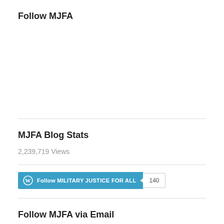Follow MJFA
2,239,719 Views
[Figure (other): WordPress Follow button for MILITARY JUSTICE FOR ALL with follower count 140]
Follow MJFA via Email
Enter your email address to follow this blog and receive notifications of new posts by email.